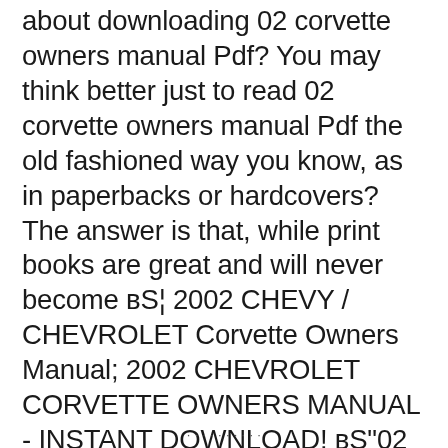about downloading 02 corvette owners manual Pdf? You may think better just to read 02 corvette owners manual Pdf the old fashioned way you know, as in paperbacks or hardcovers? The answer is that, while print books are great and will never become в… 2002 CHEVY / CHEVROLET Corvette Owners Manual; 2002 CHEVROLET CORVETTE OWNERS MANUAL - INSTANT DOWNLOAD! вЂ‌02 Chevrolet Corvette 2002 Owners Manual; VN VR VS VT VX VY 4L60E 4L30E AUTO GEARBOX REPAIR MANUAL; Chevrolet Corvette C5 5.7L Parts Manual 1997-2002; 4L60 4L60E 4L30E AUTOMATIC GEARBOX WORKSHOP SERVICE MANUAL
· · · · · · · · · ·